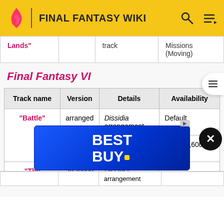FINAL FANTASY WIKI
| Track name | Version | Details | Availability |
| --- | --- | --- | --- |
| Lands" |  | track | Missions (Moving) |
Final Fantasy VI
| Track name | Version | Details | Availability |
| --- | --- | --- | --- |
| "Battle" | arranged | Dissidia arrangement | Default |
|  | original | SNES port track | Shop (3,600 gil) |
| "The Decisive Battle" | arranged | Dissidia arrangement |  |
[Figure (other): Best Buy advertisement banner overlay]